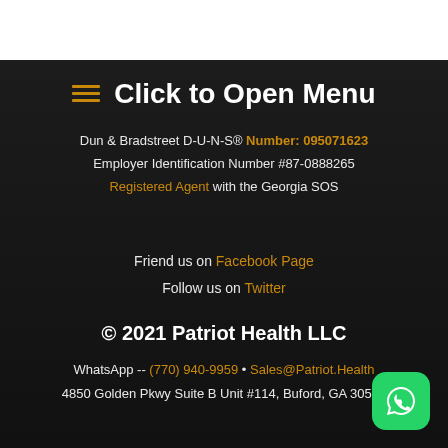≡ Click to Open Menu
Dun & Bradstreet D-U-N-S® Number: 095071623
Employer Identification Number #87-0888265
Registered Agent with the Georgia SOS
Friend us on Facebook Page
Follow us on Twitter
© 2021 Patriot Health LLC
WhatsApp -- (770) 940-9959 • Sales@Patriot.Health
4850 Golden Pkwy Suite B Unit #114, Buford, GA 30518
[Figure (logo): WhatsApp logo button (green rounded square with white phone handset icon)]